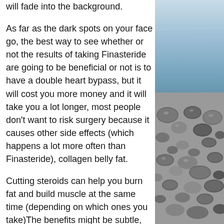will fade into the background.
As far as the dark spots on your face go, the best way to see whether or not the results of taking Finasteride are going to be beneficial or not is to have a double heart bypass, but it will cost you more money and it will take you a lot longer, most people don't want to risk surgery because it causes other side effects (which happens a lot more often than Finasteride), collagen belly fat.
Cutting steroids can help you burn fat and build muscle at the same time (depending on which ones you take)The benefits might be subtle, but take a look to see if steroids are helping you
How To Stop Being Fat Fast
Now it is time to get off the couch. This was
[Figure (photo): A photo of smooth pebbles/rocks on a beach with blue-grey water and sky in the background, cropped to show the right portion of the image.]